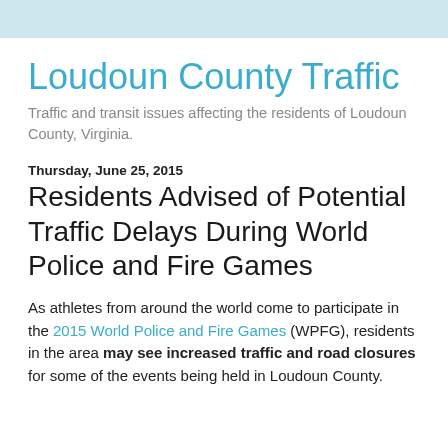Loudoun County Traffic
Traffic and transit issues affecting the residents of Loudoun County, Virginia.
Thursday, June 25, 2015
Residents Advised of Potential Traffic Delays During World Police and Fire Games
As athletes from around the world come to participate in the 2015 World Police and Fire Games (WPFG), residents in the area may see increased traffic and road closures for some of the events being held in Loudoun County.